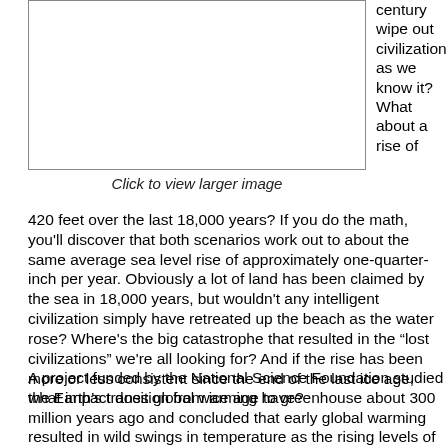[Figure (other): Image placeholder with border, partially visible at top]
Click to view larger image
century wipe out civilization as we know it? What about a rise of 420 feet over the last 18,000 years? If you do the math, you'll discover that both scenarios work out to about the same average sea level rise of approximately one-quarter-inch per year. Obviously a lot of land has been claimed by the sea in 18,000 years, but wouldn't any intelligent civilization simply have retreated up the beach as the water rose? Where's the big catastrophe that resulted in the "lost civilizations" we're all looking for? And if the rise has been more or less consistent since the end of the last ice age, what impact does global warming have?
A project funded by the National Science Foundation studied the Earth's transition from ice age to greenhouse about 300 million years ago and concluded that early global warming resulted in wild swings in temperature as the rising levels of greenhouse gases transformed the earth.